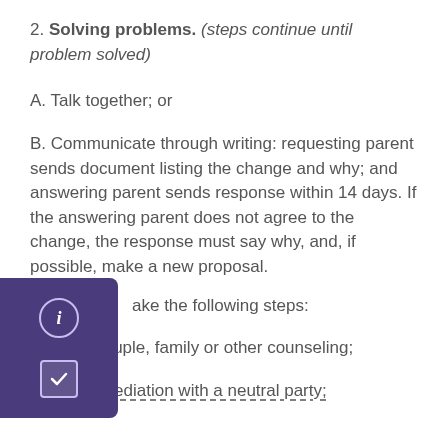2. Solving problems. (steps continue until problem solved)
A. Talk together; or
B. Communicate through writing: requesting parent sends document listing the change and why; and answering parent sends response within 14 days. If the answering parent does not agree to the change, the response must say why, and, if possible, make a new proposal.
...ake the following steps:
1. Go to couple, family or other counseling;
2.  Go to mediation with a neutral party;